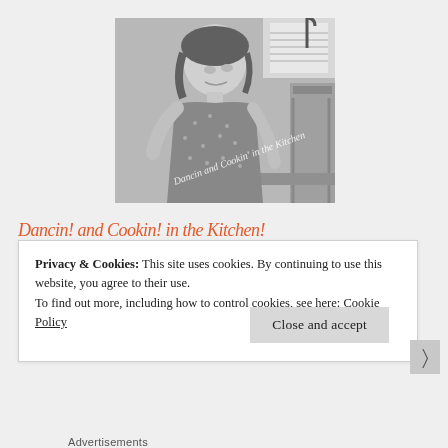[Figure (photo): Black and white photo of a young girl in a patterned dress looking down, standing in a kitchen. Watermark text reads 'Dancin and Cookin in the Kitchen' in white italic script across the lower portion of the image.]
Dancin! and Cookin! in the Kitchen!
Privacy & Cookies: This site uses cookies. By continuing to use this website, you agree to their use.
To find out more, including how to control cookies, see here: Cookie Policy
Close and accept
Advertisements